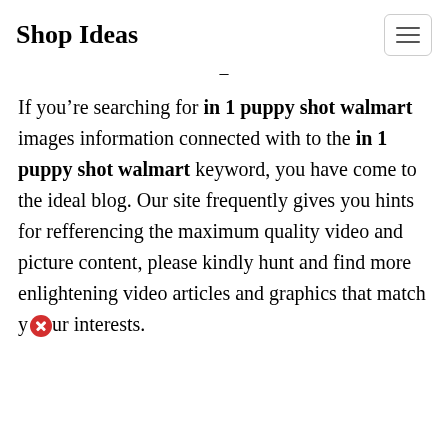Shop Ideas
If you’re searching for in 1 puppy shot walmart images information connected with to the in 1 puppy shot walmart keyword, you have come to the ideal blog. Our site frequently gives you hints for refferencing the maximum quality video and picture content, please kindly hunt and find more enlightening video articles and graphics that match your interests.